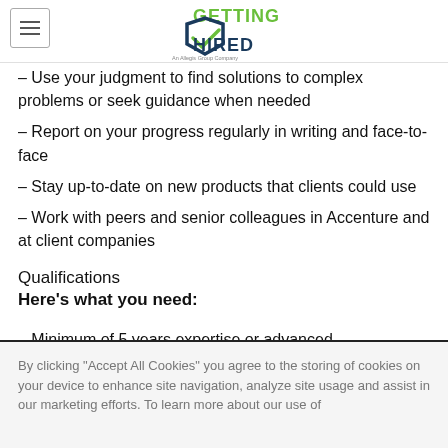[Figure (logo): Getting Hired logo - an Allegis Group Company]
- Use your judgment to find solutions to complex problems or seek guidance when needed
- Report on your progress regularly in writing and face-to-face
- Stay up-to-date on new products that clients could use
- Work with peers and senior colleagues in Accenture and at client companies
Qualifications
Here's what you need:
- Minimum of 5 years expertise or advanced
By clicking "Accept All Cookies" you agree to the storing of cookies on your device to enhance site navigation, analyze site usage and assist in our marketing efforts. To learn more about our use of